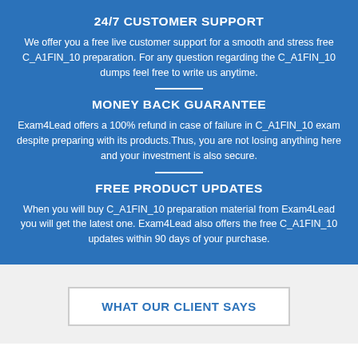24/7 CUSTOMER SUPPORT
We offer you a free live customer support for a smooth and stress free C_A1FIN_10 preparation. For any question regarding the C_A1FIN_10 dumps feel free to write us anytime.
MONEY BACK GUARANTEE
Exam4Lead offers a 100% refund in case of failure in C_A1FIN_10 exam despite preparing with its products.Thus, you are not losing anything here and your investment is also secure.
FREE PRODUCT UPDATES
When you will buy C_A1FIN_10 preparation material from Exam4Lead you will get the latest one. Exam4Lead also offers the free C_A1FIN_10 updates within 90 days of your purchase.
WHAT OUR CLIENT SAYS